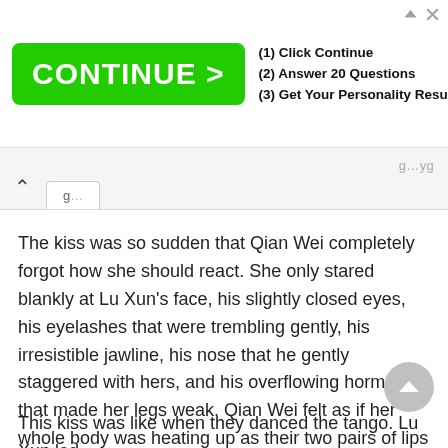[Figure (other): Advertisement banner with green CONTINUE > button and steps: (1) Click Continue, (2) Answer 20 Questions, (3) Get Your Personality Result]
The kiss was so sudden that Qian Wei completely forgot how she should react. She only stared blankly at Lu Xun’s face, his slightly closed eyes, his eyelashes that were trembling gently, his irresistible jawline, his nose that he gently staggered with hers, and his overflowing hormones that made her legs weak. Qian Wei felt as if her whole body was heating up as their two pairs of lips met and overlapped, she felt as if she could hardly breathe, as if all of her senses were concentrated on their intertwined lips and tongues. There was something moist, with a hint of mint, that was warm and restless...
This kiss was like when they danced the tango. Lu Xun led